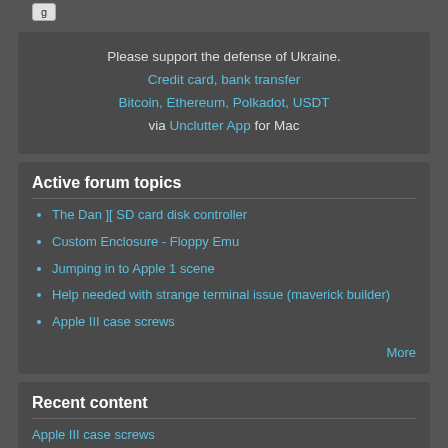[Figure (other): Partial button/image at top]
Please support the defense of Ukraine.
Credit card, bank transfer
Bitcoin, Ethereum, Polkadot, USDT
via Unclutter App for Mac
Active forum topics
The Dan ][ SD card disk controller
Custom Enclosure - Floppy Emu
Jumping in to Apple 1 scene
Help needed with strange terminal issue (maverick builder)
Apple III case screws
More
Recent content
Apple III case screws
guibrush